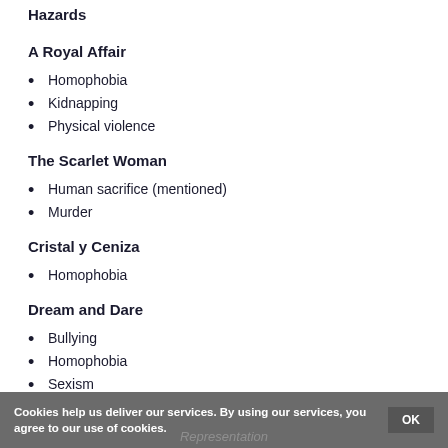A Royal Affair
Homophobia
Kidnapping
Physical violence
The Scarlet Woman
Human sacrifice (mentioned)
Murder
Cristal y Ceniza
Homophobia
Dream and Dare
Bullying
Homophobia
Sexism
Cookies help us deliver our services. By using our services, you agree to our use of cookies. OK